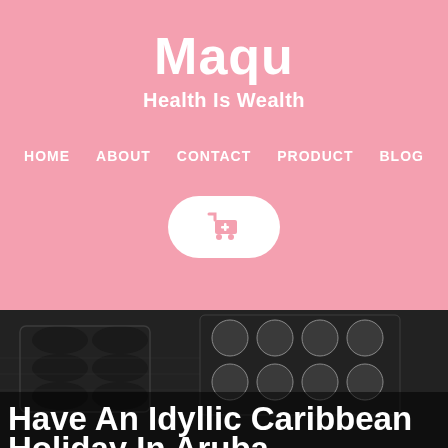Maqu
Health Is Wealth
HOME   ABOUT   CONTACT   PRODUCT   BLOG
[Figure (screenshot): White rounded rectangle button with a pink shopping cart icon]
[Figure (photo): Dark grayscale photo of blister packs of pills and capsules on a printed paper background]
Have An Idyllic Caribbean Holiday In Aruba